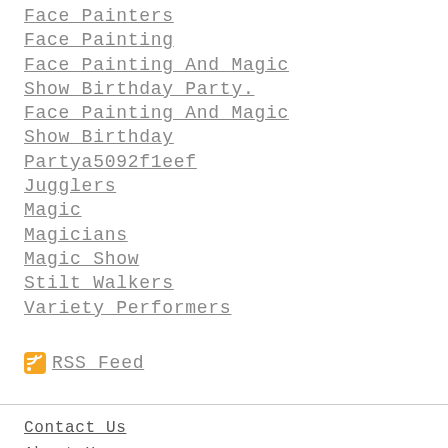Face Painters
Face Painting
Face Painting And Magic Show Birthday Party.
Face Painting And Magic Show Birthday Partya5092f1eef
Jugglers
Magic
Magicians
Magic Show
Stilt Walkers
Variety Performers
RSS Feed
Contact Us
About Us